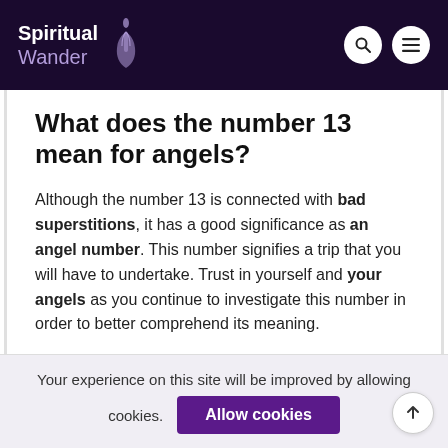Spiritual Wander
What does the number 13 mean for angels?
Although the number 13 is connected with bad superstitions, it has a good significance as an angel number. This number signifies a trip that you will have to undertake. Trust in yourself and your angels as you continue to investigate this number in order to better comprehend its meaning.
Your experience on this site will be improved by allowing cookies.